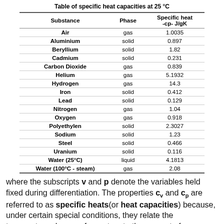Table of specific heat capacities at 25 °C
| Substance | Phase | Specific heat -cp- J/gK |
| --- | --- | --- |
| Air | gas | 1.0035 |
| Aluminium | solid | 0.897 |
| Beryllium | solid | 1.82 |
| Cadmium | solid | 0.231 |
| Carbon Dioxide | gas | 0.839 |
| Helium | gas | 5.1932 |
| Hydrogen | gas | 14.3 |
| Iron | solid | 0.412 |
| Lead | solid | 0.129 |
| Nitrogen | gas | 1.04 |
| Oxygen | gas | 0.918 |
| Polyethylen | solid | 2.3027 |
| Sodium | solid | 1.23 |
| Steel | solid | 0.466 |
| Uranium | solid | 0.116 |
| Water (25°C) | liquid | 4.1813 |
| Water (100°C - steam) | gas | 2.08 |
where the subscripts v and p denote the variables held fixed during differentiation. The properties cv and cp are referred to as specific heats(or heat capacities) because, under certain special conditions, they relate the temperature change of a system to the amount of energy added by heat transfer. Their SI units are J/kg K or J/mol K.